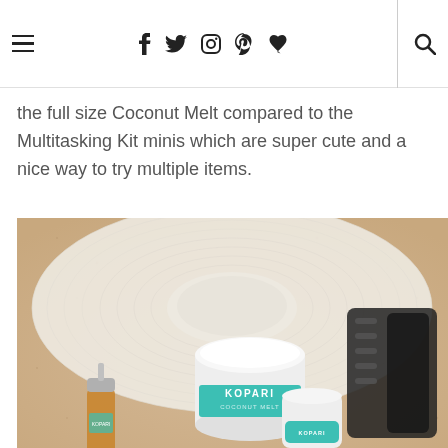Navigation bar with hamburger menu, social icons (f, Twitter, Instagram, Pinterest, heart), and search icon
the full size Coconut Melt compared to the Multitasking Kit minis which are super cute and a nice way to try multiple items.
[Figure (photo): Flat lay photo on sandy surface showing a white woven sun hat, a Kopari Coconut Melt jar with teal label, a small amber dropper bottle, a small teal Kopari mini product, and black leather sandals.]